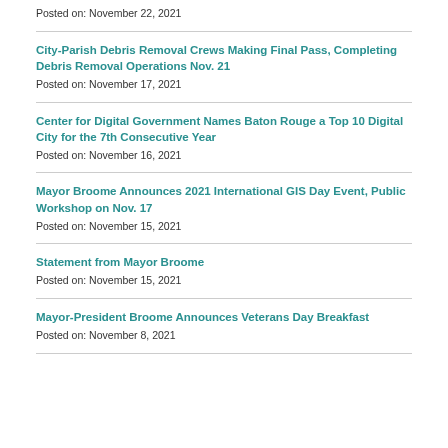Posted on: November 22, 2021
City-Parish Debris Removal Crews Making Final Pass, Completing Debris Removal Operations Nov. 21
Posted on: November 17, 2021
Center for Digital Government Names Baton Rouge a Top 10 Digital City for the 7th Consecutive Year
Posted on: November 16, 2021
Mayor Broome Announces 2021 International GIS Day Event, Public Workshop on Nov. 17
Posted on: November 15, 2021
Statement from Mayor Broome
Posted on: November 15, 2021
Mayor-President Broome Announces Veterans Day Breakfast
Posted on: November 8, 2021